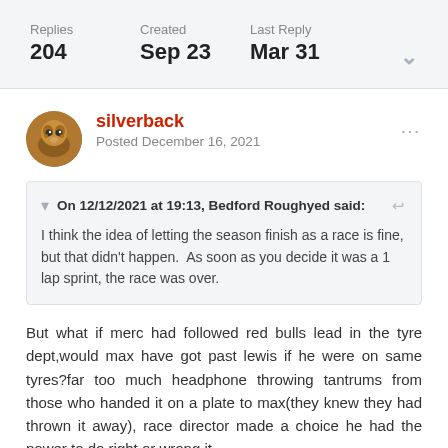Replies 204  Created Sep 23  Last Reply Mar 31
silverback
Posted December 16, 2021
On 12/12/2021 at 19:13, Bedford Roughyed said:
I think the idea of letting the season finish as a race is fine, but that didn't happen.  As soon as you decide it was a 1 lap sprint, the race was over.
But what if merc had followed red bulls lead in the tyre dept,would max have got past lewis if he were on same tyres?far too much headphone throwing tantrums from those who handed it on a plate to max(they knew they had thrown it away), race director made a choice he had the power to do,right or wrong it